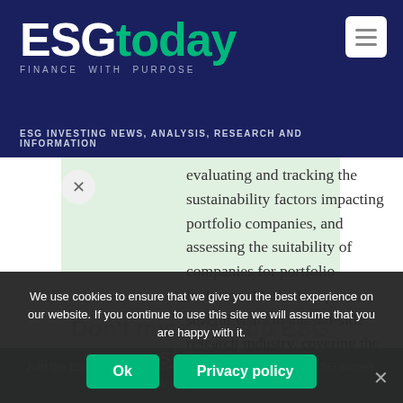ESGtoday — FINANCE WITH PURPOSE
ESG INVESTING NEWS, ANALYSIS, RESEARCH AND INFORMATION
evaluating and tracking the sustainability factors impacting portfolio companies, and assessing the suitability of companies for portfolio inclusion. Mark also spent several years in the sell-side research industry, covering the technology and services sectors. Mark holds an MBA from Columbia University
Don't miss the top ESG stories!
Join the ESG Today daily newsletter and get all the top ESG stories, like this one. Subscribe now!
We use cookies to ensure that we give you the best experience on our website. If you continue to use this site we will assume that you are happy with it.